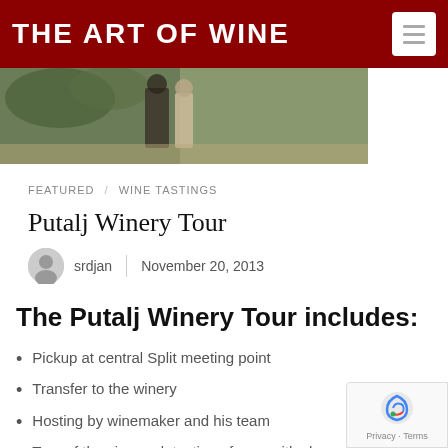THE ART OF WINE
[Figure (photo): Partial photo showing two people at a vineyard or outdoor setting]
FEATURED / WINE TASTINGS
Putalj Winery Tour
srdjan   November 20, 2013
The Putalj Winery Tour includes:
Pickup at central Split meeting point
Transfer to the winery
Hosting by winemaker and his team
Tour of the vineyard, tasting of rose with cheese sea view terrace